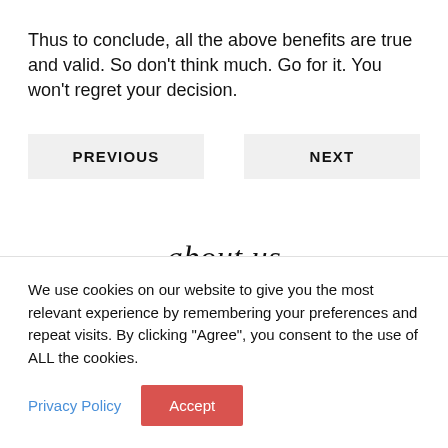Thus to conclude, all the above benefits are true and valid. So don't think much. Go for it. You won't regret your decision.
PREVIOUS   NEXT
about us
We use cookies on our website to give you the most relevant experience by remembering your preferences and repeat visits. By clicking "Agree", you consent to the use of ALL the cookies.
Privacy Policy   Accept